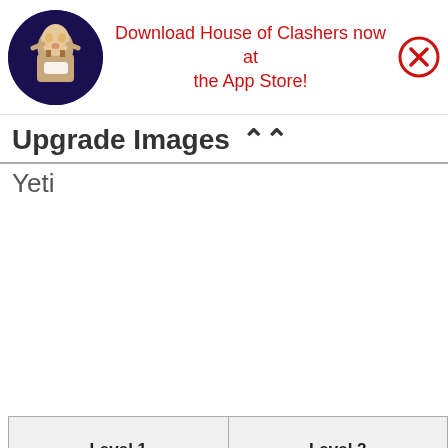[Figure (other): Ad banner showing House of Clashers app promotion with a game character avatar on the left, red text 'Download House of Clashers now at the App Store!' in center, and a red X close button on the right.]
Upgrade Images ^^
Yeti
| Level 1 | Level 2 |
| --- | --- |
| [Yeti Level 1 image] | [Yeti Level 2 image] |
| Level 3 | Level 4 |
| [Yeti Level 3 image partial] | [Yeti Level 4 image partial] |